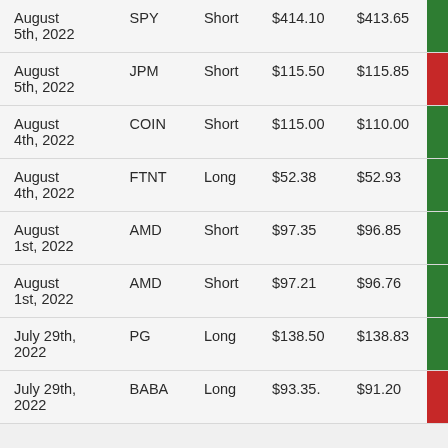| Date | Ticker | Direction | Entry Price | Exit Price | Result |
| --- | --- | --- | --- | --- | --- |
| August 5th, 2022 | SPY | Short | $414.10 | $413.65 | green |
| August 5th, 2022 | JPM | Short | $115.50 | $115.85 | red |
| August 4th, 2022 | COIN | Short | $115.00 | $110.00 | green |
| August 4th, 2022 | FTNT | Long | $52.38 | $52.93 | green |
| August 1st, 2022 | AMD | Short | $97.35 | $96.85 | green |
| August 1st, 2022 | AMD | Short | $97.21 | $96.76 | green |
| July 29th, 2022 | PG | Long | $138.50 | $138.83 | green |
| July 29th, 2022 | BABA | Long | $93.35. | $91.20 | red |